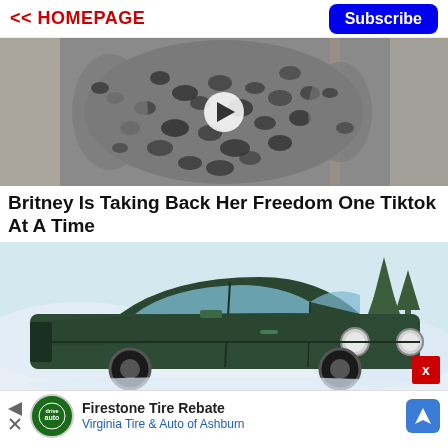<< HOMEPAGE | Subscribe
[Figure (photo): Person wearing a leopard print outfit, video thumbnail with play button overlay]
Britney Is Taking Back Her Freedom One Tiktok At A Time
[Figure (photo): Dark green classic Aston Martin car parked in snowy winter setting with trees in background, with a red X close button in the bottom right corner]
Firestone Tire Rebate Virginia Tire & Auto of Ashburn